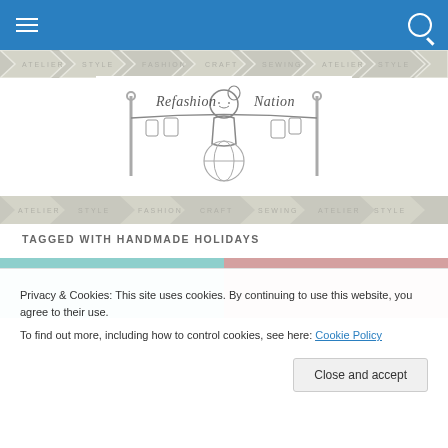Navigation bar with hamburger menu and search icon
[Figure (illustration): Chevron/arrow pattern banner strip in gray]
[Figure (logo): Refashion Nation logo - hand-drawn illustration of a girl with sewing machine surrounded by clothes on a line, with globe, text reads 'Refashion Nation']
[Figure (illustration): Chevron/arrow pattern banner strip in gray]
TAGGED WITH HANDMADE HOLIDAYS
Privacy & Cookies: This site uses cookies. By continuing to use this website, you agree to their use.
To find out more, including how to control cookies, see here: Cookie Policy
Close and accept